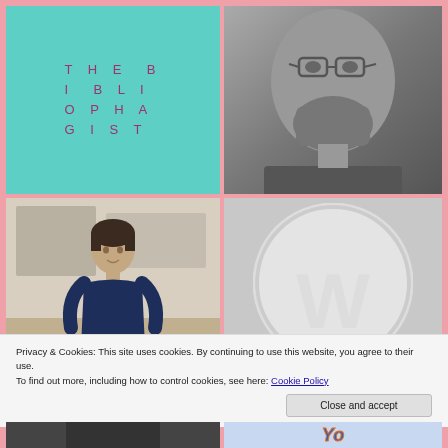[Figure (logo): Teal/mint background with 'THE BIBLIOPHAGIST' text arranged vertically in spaced purple/mauve letters]
[Figure (photo): Black and white photo of a bearded man wearing glasses, cropped close]
[Figure (photo): Color photo of a woman with short dark hair wearing a navy wrap dress, standing in an art studio or gallery]
[Figure (logo): WordPress logo (W in a circle) on light gray background]
Privacy & Cookies: This site uses cookies. By continuing to use this website, you agree to their use.
To find out more, including how to control cookies, see here: Cookie Policy
[Figure (photo): Partial view of person at bottom left, cropped]
[Figure (logo): Partial colorful logo at bottom right, appears to show letters in blue/orange]